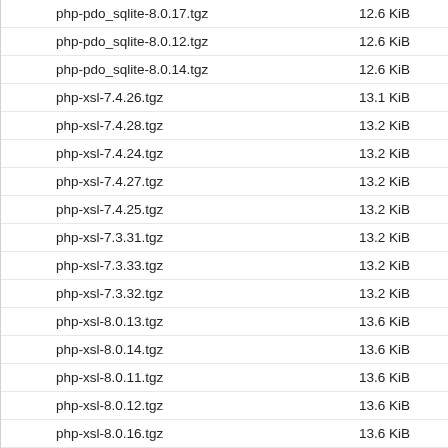php-pdo_sqlite-8.0.17.tgz    12.6 KiB
php-pdo_sqlite-8.0.12.tgz    12.6 KiB
php-pdo_sqlite-8.0.14.tgz    12.6 KiB
php-xsl-7.4.26.tgz    13.1 KiB
php-xsl-7.4.28.tgz    13.2 KiB
php-xsl-7.4.24.tgz    13.2 KiB
php-xsl-7.4.27.tgz    13.2 KiB
php-xsl-7.4.25.tgz    13.2 KiB
php-xsl-7.3.31.tgz    13.2 KiB
php-xsl-7.3.33.tgz    13.2 KiB
php-xsl-7.3.32.tgz    13.2 KiB
php-xsl-8.0.13.tgz    13.6 KiB
php-xsl-8.0.14.tgz    13.6 KiB
php-xsl-8.0.11.tgz    13.6 KiB
php-xsl-8.0.12.tgz    13.6 KiB
php-xsl-8.0.16.tgz    13.6 KiB